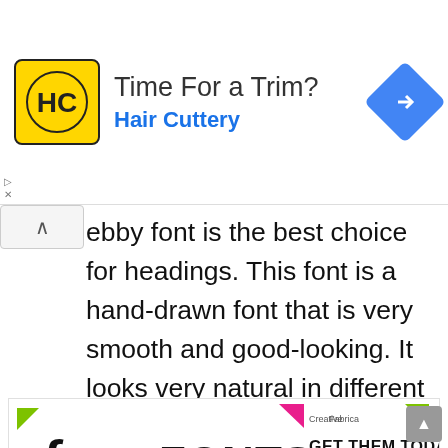[Figure (infographic): Hair Cuttery advertisement banner with yellow HC logo, title 'Time For a Trim?', subtitle 'Hair Cuttery', and a blue diamond navigation icon on the right]
ebby font is the best choice for headings. This font is a hand-drawn font that is very smooth and good-looking. It looks very natural in different designs and is created from watercolor.
[Figure (infographic): Creative Fabrica free fonts promotional banner with hand-lettered 'free FONTS' text and 'GET THEM TODAY ONLY FOR A LIMITED TIME' with colorful triangle decorations]
Watercolors are often used in pattern and texture but this font is created with a watercolor brush which is often used to show appreciation